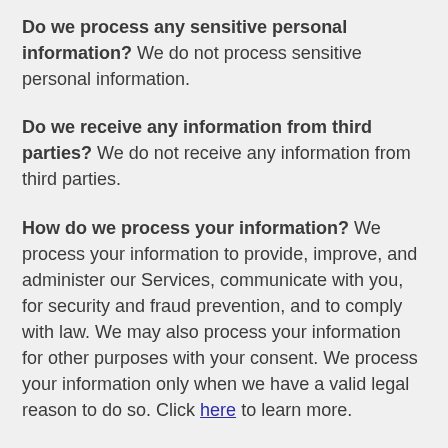Do we process any sensitive personal information? We do not process sensitive personal information.
Do we receive any information from third parties? We do not receive any information from third parties.
How do we process your information? We process your information to provide, improve, and administer our Services, communicate with you, for security and fraud prevention, and to comply with law. We may also process your information for other purposes with your consent. We process your information only when we have a valid legal reason to do so. Click here to learn more.
In what situations and with which parties do we share personal information? We may share information in specific situations and with specific third parties. Click here to learn more.
How do we keep your information safe? We have organizational and technical processes and procedures in place to protect your